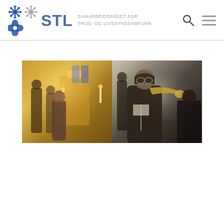[Figure (logo): STL logo with snowflake/flower icons in blue and gray, text 'STL' in blue, subtitle 'SAMARBEIDSRÅDET FOR TROS- OG LIVSSYNSSAMFUNN' in gray]
[Figure (photo): Composite photo showing on left a religious/church setting with people and golden decorations, on right a musician playing trumpet in a dark performance setting]